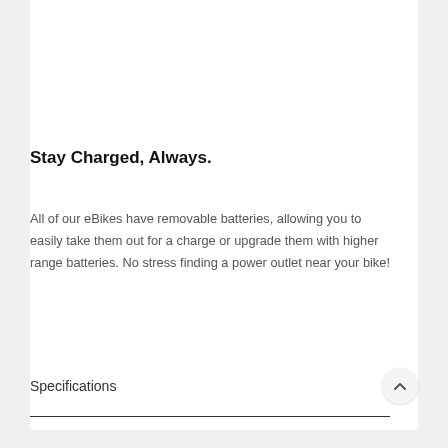[Figure (photo): Overhead shadow photo of a bicycle cast on a blue-grey concrete surface]
Stay Charged, Always.
All of our eBikes have removable batteries, allowing you to easily take them out for a charge or upgrade them with higher range batteries. No stress finding a power outlet near your bike!
Specifications